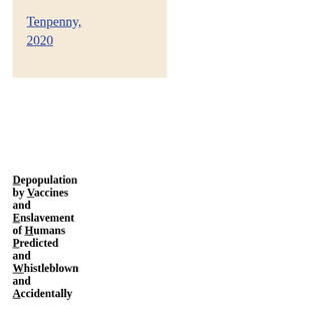Tenpenny, 2020
Depopulation by Vaccines and Enslavement of Humans Predicted and Whistleblown and Accidentally